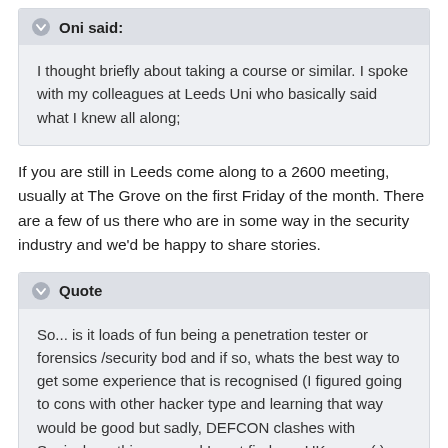Oni said:
I thought briefly about taking a course or similar. I spoke with my colleagues at Leeds Uni who basically said what I knew all along;
If you are still in Leeds come along to a 2600 meeting, usually at The Grove on the first Friday of the month. There are a few of us there who are in some way in the security industry and we'd be happy to share stories.
Quote
So... is it loads of fun being a penetration tester or forensics /security bod and if so, whats the best way to get some experience that is recognised (I figured going to cons with other hacker type and learning that way would be good but sadly, DEFCON clashes with Sonisphere this year and I cant find any UK ones :( )